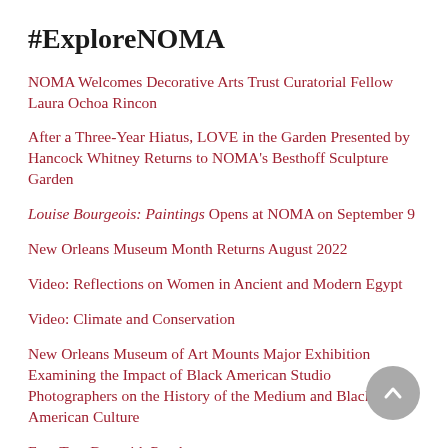#ExploreNOMA
NOMA Welcomes Decorative Arts Trust Curatorial Fellow Laura Ochoa Rincon
After a Three-Year Hiatus, LOVE in the Garden Presented by Hancock Whitney Returns to NOMA's Besthoff Sculpture Garden
Louise Bourgeois: Paintings Opens at NOMA on September 9
New Orleans Museum Month Returns August 2022
Video: Reflections on Women in Ancient and Modern Egypt
Video: Climate and Conservation
New Orleans Museum of Art Mounts Major Exhibition Examining the Impact of Black American Studio Photographers on the History of the Medium and Black American Culture
Free Tote Bag with Purchase